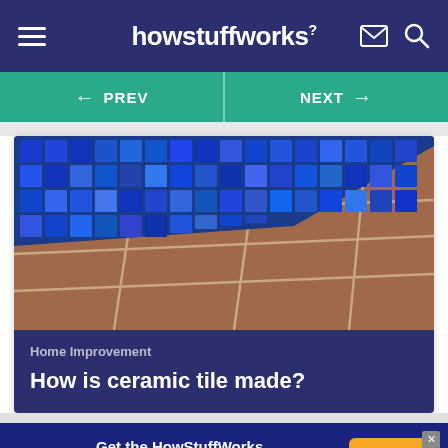howstuffworks
[Figure (screenshot): Navigation bar with PREV and NEXT buttons on teal background]
[Figure (photo): Close-up photo of blue mosaic ceramic wall tiles and brown/terracotta floor tiles with white grout lines]
Home Improvement
How is ceramic tile made?
Get the HowStuffWorks Newsletter!
Sign Up